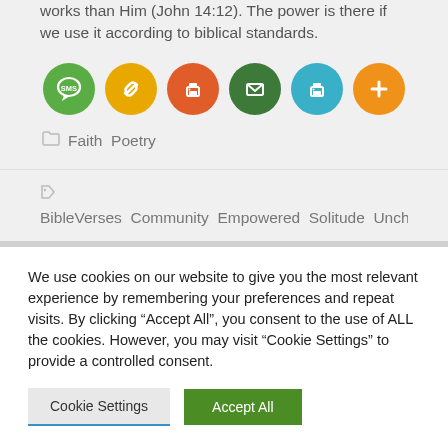works than Him (John 14:12). The power is there if we use it according to biblical standards.
[Figure (infographic): Row of six social sharing icon circles: SMS (green), link (yellow/gold), print (orange), email (dark green), print/share (teal), plus/more (orange)]
Faith  Poetry
BibleVerses  Community  Empowered  Solitude  Unchurched  Wor
We use cookies on our website to give you the most relevant experience by remembering your preferences and repeat visits. By clicking “Accept All”, you consent to the use of ALL the cookies. However, you may visit "Cookie Settings" to provide a controlled consent.
Cookie Settings  Accept All